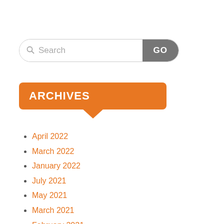[Figure (other): Search bar with text field showing 'Search' placeholder and a 'GO' button]
ARCHIVES
April 2022
March 2022
January 2022
July 2021
May 2021
March 2021
February 2021
January 2021
December 2020
November 2020
October 2020
September 2020